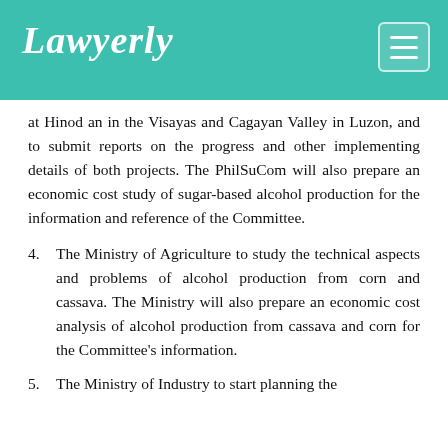Lawyerly
at Hinod an in the Visayas and Cagayan Valley in Luzon, and to submit reports on the progress and other implementing details of both projects. The PhilSuCom will also prepare an economic cost study of sugar-based alcohol production for the information and reference of the Committee.
4. The Ministry of Agriculture to study the technical aspects and problems of alcohol production from corn and cassava. The Ministry will also prepare an economic cost analysis of alcohol production from cassava and corn for the Committee's information.
5. The Ministry of Industry to start planning the